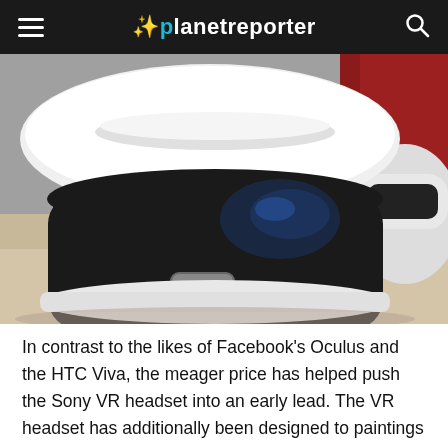planetreporter
[Figure (photo): Close-up photo of a Sony PlayStation VR headset in white and black, sitting on a surface, with another device partially visible in the background on the right side.]
In contrast to the likes of Facebook's Oculus and the HTC Viva, the meager price has helped push the Sony VR headset into an early lead. The VR headset has additionally been designed to paintings with the PlayStation 4 rather than